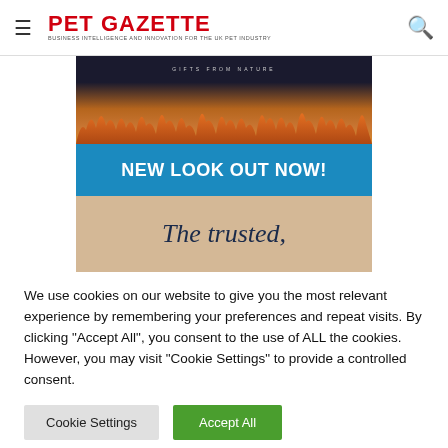PET GAZETTE
[Figure (illustration): Advertisement banner showing nature/orange flame imagery at top, blue banner reading 'NEW LOOK OUT NOW!', and beige/kraft background with text 'The trusted,' in dark serif font]
We use cookies on our website to give you the most relevant experience by remembering your preferences and repeat visits. By clicking "Accept All", you consent to the use of ALL the cookies. However, you may visit "Cookie Settings" to provide a controlled consent.
Cookie Settings | Accept All